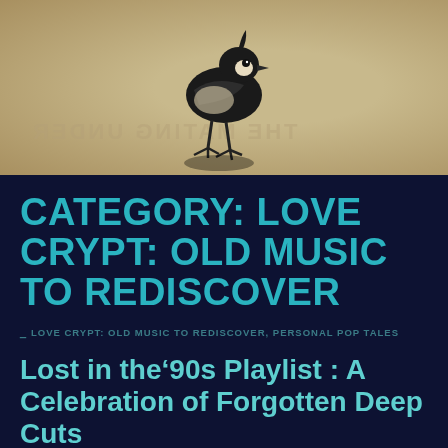[Figure (photo): Black and white vintage photo of a bird (chick/lapwing) standing, on a beige/tan background with faint reversed text watermark 'THE MATING UNDER']
CATEGORY: LOVE CRYPT: OLD MUSIC TO REDISCOVER
LOVE CRYPT: OLD MUSIC TO REDISCOVER, PERSONAL POP TALES
Lost in the’90s Playlist : A Celebration of Forgotten Deep Cuts